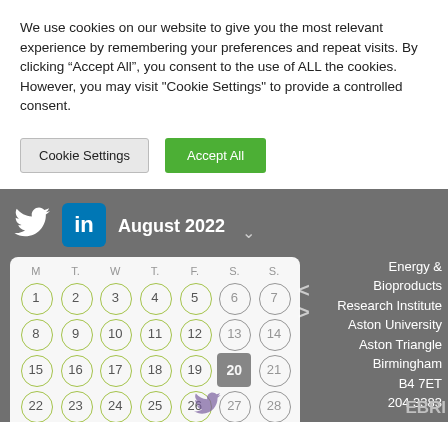We use cookies on our website to give you the most relevant experience by remembering your preferences and repeat visits. By clicking “Accept All”, you consent to the use of ALL the cookies. However, you may visit "Cookie Settings" to provide a controlled consent.
[Figure (screenshot): Cookie consent buttons: 'Cookie Settings' (gray) and 'Accept All' (green)]
[Figure (infographic): Website footer section with Twitter and LinkedIn icons, August 2022 calendar with circular day markers, navigation arrows, and address block: Energy & Bioproducts Research Institute, Aston University, Aston Triangle, Birmingham B4 7ET, 204 3383]
Energy & Bioproducts Research Institute Aston University Aston Triangle Birmingham B4 7ET 204 3383